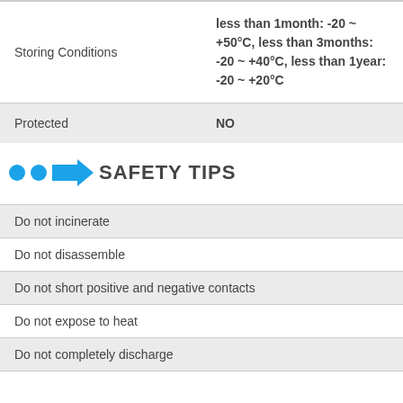|  |  |
| --- | --- |
| Storing Conditions | less than 1month: -20 ~ +50°C, less than 3months: -20 ~ +40°C, less than 1year: -20 ~ +20°C |
| Protected | NO |
SAFETY TIPS
Do not incinerate
Do not disassemble
Do not short positive and negative contacts
Do not expose to heat
Do not completely discharge